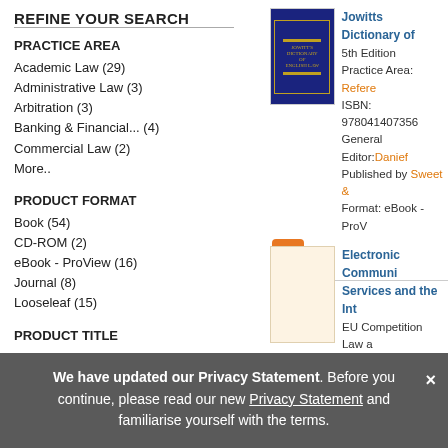REFINE YOUR SEARCH
PRACTICE AREA
Academic Law (29)
Administrative Law (3)
Arbitration (3)
Banking & Financial... (4)
Commercial Law (2)
More..
PRODUCT FORMAT
Book (54)
CD-ROM (2)
eBook - ProView (16)
Journal (8)
Looseleaf (15)
PRODUCT TITLE
A (2)
B (2)
C (10)
D (1)
E (10)
More..
Jowitts Dictionary of
5th Edition
Practice Area: Refere...
ISBN: 978041407356...
General Editor: Danief...
Published by Sweet &...
Format: eBook - ProV...
Electronic Communit... Services and the Int...
EU Competition Law a...
4th Edition
Practice Areas: Comp... Technology Law, Med...
ISBN: 978041407297...
Authors: Laurent Garz... Alexandre de Streel; P...
Published by Sweet &...
We have updated our Privacy Statement. Before you continue, please read our new Privacy Statement and familiarise yourself with the terms.